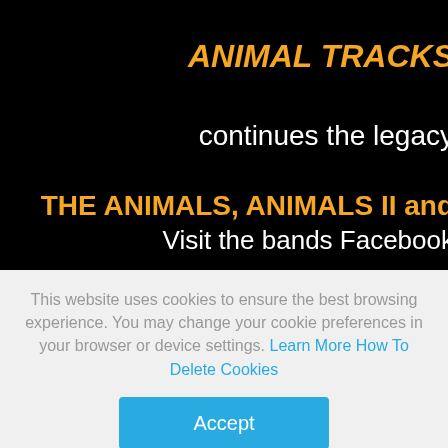ANIMAL TRACKS
continues the legacy
THE ANIMALS, ANIMALS II and
Visit the bands Facebook
This website uses cookies to ensure the best browsing experience. You may change your cookie preferences in your browser or device settings. Learn More How To Delete Cookies
Accept